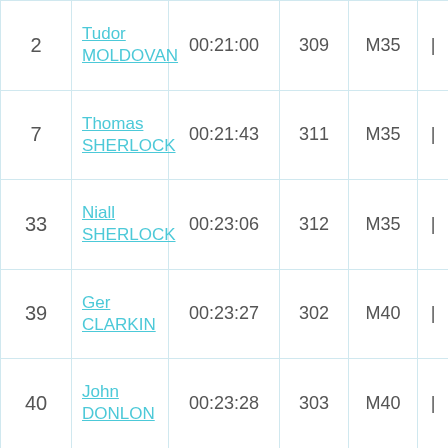| Rank | Name | Time | Bib | Category |  |
| --- | --- | --- | --- | --- | --- |
| 2 | Tudor MOLDOVAN | 00:21:00 | 309 | M35 | | |
| 7 | Thomas SHERLOCK | 00:21:43 | 311 | M35 | | |
| 33 | Niall SHERLOCK | 00:23:06 | 312 | M35 | | |
| 39 | Ger CLARKIN | 00:23:27 | 302 | M40 | | |
| 40 | John DONLON | 00:23:28 | 303 | M40 | | |